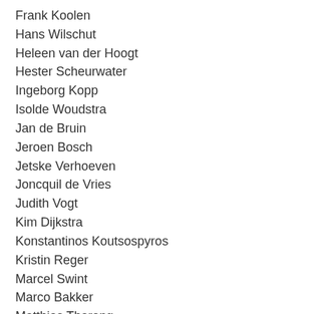Frank Koolen
Hans Wilschut
Heleen van der Hoogt
Hester Scheurwater
Ingeborg Kopp
Isolde Woudstra
Jan de Bruin
Jeroen Bosch
Jetske Verhoeven
Joncquil de Vries
Judith Vogt
Kim Dijkstra
Konstantinos Koutsospyros
Kristin Reger
Marcel Swint
Marco Bakker
Matthias Tharang
Nadine Hottenrott
Niels Post